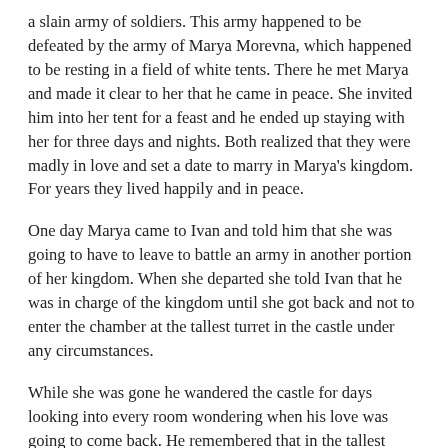a slain army of soldiers. This army happened to be defeated by the army of Marya Morevna, which happened to be resting in a field of white tents. There he met Marya and made it clear to her that he came in peace. She invited him into her tent for a feast and he ended up staying with her for three days and nights. Both realized that they were madly in love and set a date to marry in Marya's kingdom. For years they lived happily and in peace.
One day Marya came to Ivan and told him that she was going to have to leave to battle an army in another portion of her kingdom. When she departed she told Ivan that he was in charge of the kingdom until she got back and not to enter the chamber at the tallest turret in the castle under any circumstances.
While she was gone he wandered the castle for days looking into every room wondering when his love was going to come back. He remembered that in the tallest turret there was something inside that he was not supposed to see. Burning with curiosity he ran to the uppermost chamber in the turret and unlocked the door. Inside he found a giant lying sprawled on the floor with his arms and legs chained to the floor with enormous chains.